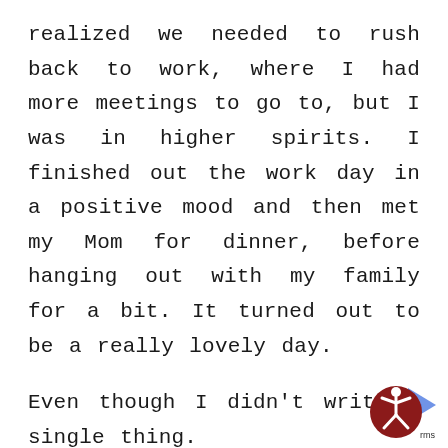realized we needed to rush back to work, where I had more meetings to go to, but I was in higher spirits. I finished out the work day in a positive mood and then met my Mom for dinner, before hanging out with my family for a bit. It turned out to be a really lovely day.
Even though I didn't write a single thing.
This morning, I'm still scared to dive back in. I'm still a little bummed that I haven't quite completed this story to the high level upon which I thought I'd achieved (though it has leveled up dramatically
[Figure (illustration): Accessibility icon: a circular red/maroon badge with a white stick figure person in the universal accessibility pose, with blue arrow shapes behind it suggesting a link or navigation element, and partial text 'rms' visible at the bottom right.]